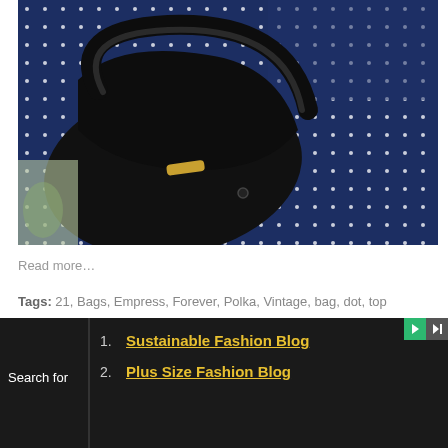[Figure (photo): Close-up photo of a navy blue polka dot fabric top with a black leather handbag handle and clasp visible in the foreground]
Read more…
Tags: 21, Bags, Empress, Forever, Polka, Vintage, bag, dot, top
Daily New Baby Clothes Wholesale
Search for
1. Sustainable Fashion Blog
2. Plus Size Fashion Blog